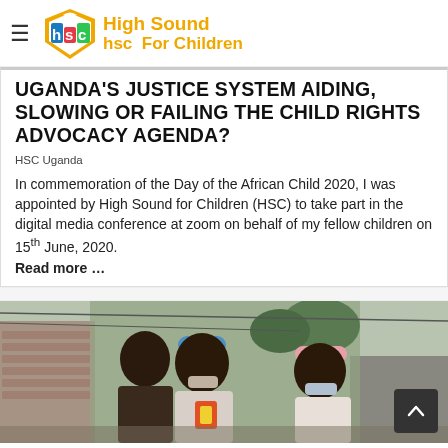High Sound For Children — HSC logo with hamburger menu
UGANDA'S JUSTICE SYSTEM AIDING, SLOWING OR FAILING THE CHILD RIGHTS ADVOCACY AGENDA?
HSC Uganda
In commemoration of the Day of the African Child 2020, I was appointed by High Sound for Children (HSC) to take part in the digital media conference at zoom on behalf of my fellow children on 15th June, 2020.
Read more ...
[Figure (photo): Photograph of people wearing masks outdoors in an urban/slum setting, including a person in a blue cap and another in a pink cap, with brick walls and corrugated metal structures in the background.]